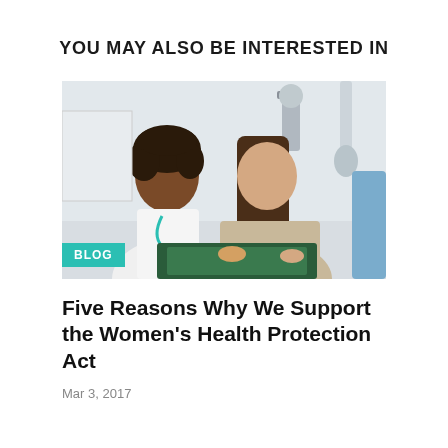YOU MAY ALSO BE INTERESTED IN
[Figure (photo): A female doctor with a stethoscope and a female patient looking at a document together in a medical office. A teal 'BLOG' badge overlays the bottom-left corner of the photo.]
Five Reasons Why We Support the Women's Health Protection Act
Mar 3, 2017